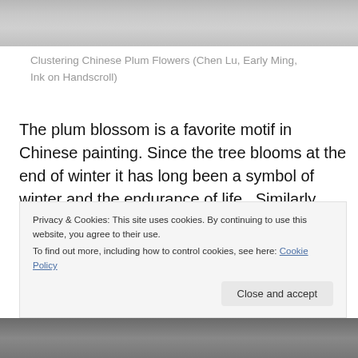[Figure (photo): Top portion of an ink painting showing gnarled plum tree branches, partially cropped]
Clustering Chinese Plum Flowers (Chen Lu, Early Ming, Ink on Handscroll)
The plum blossom is a favorite motif in Chinese painting. Since the tree blooms at the end of winter it has long been a symbol of winter and the endurance of life.  Similarly, because ancient gnarled plum trees could bear elegant new blossoms, the plum evoked thoughts of long life. Plums were also indirectly connected to Lao Tzu who was allegedly born under a plum tree.  For  more than 3000
Privacy & Cookies: This site uses cookies. By continuing to use this website, you agree to their use.
To find out more, including how to control cookies, see here: Cookie Policy
[Figure (photo): Bottom portion of an ink painting showing plum blossoms and rocks, partially cropped]